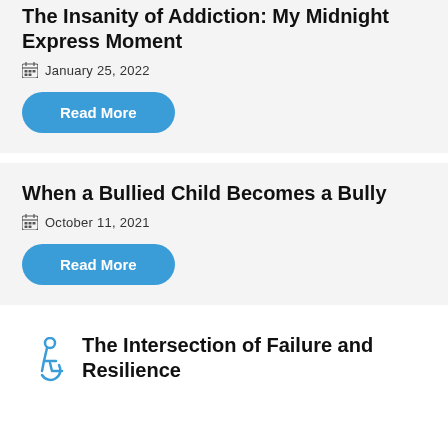The Insanity of Addiction: My Midnight Express Moment
January 25, 2022
Read More
When a Bullied Child Becomes a Bully
October 11, 2021
Read More
The Intersection of Failure and Resilience